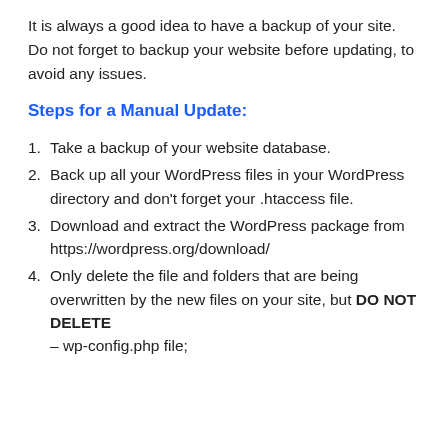It is always a good idea to have a backup of your site. Do not forget to backup your website before updating, to avoid any issues.
Steps for a Manual Update:
Take a backup of your website database.
Back up all your WordPress files in your WordPress directory and don't forget your .htaccess file.
Download and extract the WordPress package from https://wordpress.org/download/
Only delete the file and folders that are being overwritten by the new files on your site, but DO NOT DELETE – wp-config.php file;